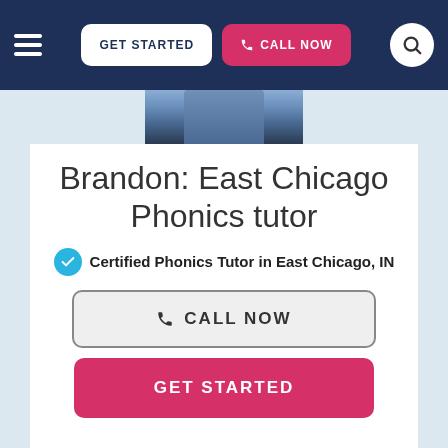GET STARTED | CALL NOW
[Figure (photo): Profile photo of Brandon, a tutor wearing a blue shirt, partial view cropped at top]
Brandon: East Chicago Phonics tutor
Certified Phonics Tutor in East Chicago, IN
CALL NOW
GET STARTED